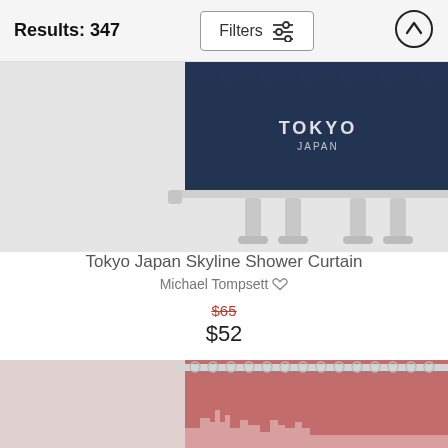Results: 347
Filters
[Figure (photo): Tokyo Japan Skyline Shower Curtain product photo showing dark navy blue shower curtain with TOKYO JAPAN text on a white rod]
Tokyo Japan Skyline Shower Curtain
Michael Tompsett
$65
$52
[Figure (photo): Second shower curtain product photo showing a pink/rose colored curtain with a skyline design on a white curtain rod with rings]